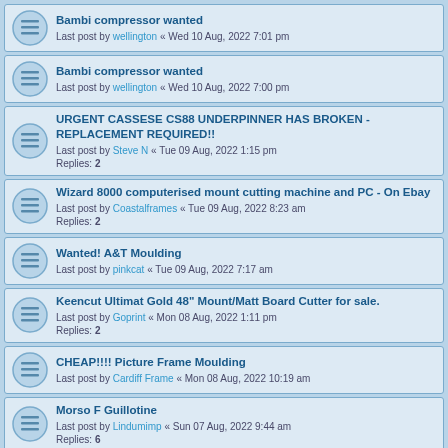Bambi compressor wanted
Last post by wellington « Wed 10 Aug, 2022 7:01 pm
Bambi compressor wanted
Last post by wellington « Wed 10 Aug, 2022 7:00 pm
URGENT CASSESE CS88 UNDERPINNER HAS BROKEN - REPLACEMENT REQUIRED!!
Last post by Steve N « Tue 09 Aug, 2022 1:15 pm
Replies: 2
Wizard 8000 computerised mount cutting machine and PC - On Ebay
Last post by Coastalframes « Tue 09 Aug, 2022 8:23 am
Replies: 2
Wanted! A&T Moulding
Last post by pinkcat « Tue 09 Aug, 2022 7:17 am
Keencut Ultimat Gold 48" Mount/Matt Board Cutter for sale.
Last post by Goprint « Mon 08 Aug, 2022 1:11 pm
Replies: 2
CHEAP!!!! Picture Frame Moulding
Last post by Cardiff Frame « Mon 08 Aug, 2022 10:19 am
Morso F Guillotine
Last post by Lindumimp « Sun 07 Aug, 2022 9:44 am
Replies: 6
Wanted - Stanley 400 Mitre Vice
Last post by Not your average framer « Sat 06 Aug, 2022 8:08 am
Replies: 4